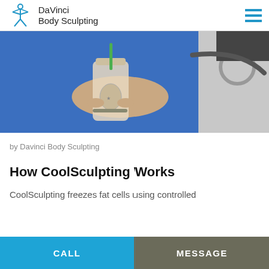DaVinci Body Sculpting
[Figure (photo): Person in blue clothing holding a Starbucks cup, seated next to medical equipment]
by Davinci Body Sculpting
How CoolSculpting Works
CoolSculpting freezes fat cells using controlled
CALL
MESSAGE